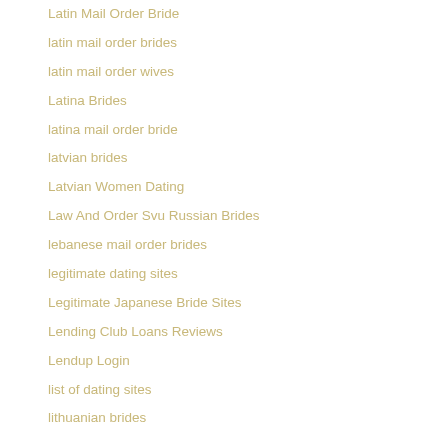Latin Mail Order Bride
latin mail order brides
latin mail order wives
Latina Brides
latina mail order bride
latvian brides
Latvian Women Dating
Law And Order Svu Russian Brides
lebanese mail order brides
legitimate dating sites
Legitimate Japanese Bride Sites
Lending Club Loans Reviews
Lendup Login
list of dating sites
lithuanian brides